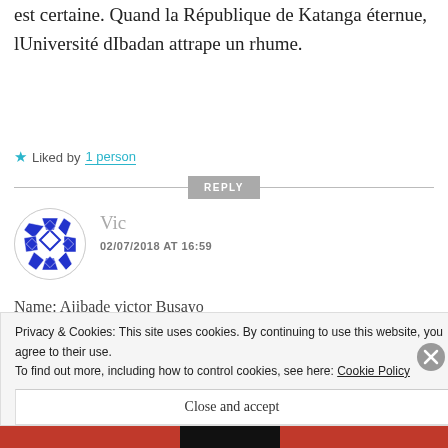est certaine. Quand la République de Katanga éternue, lUniversité dIbadan attrape un rhume.
★ Liked by 1 person
REPLY
[Figure (illustration): Circular avatar with blue and white geometric/diamond pattern on white background]
Vic
02/07/2018 AT 16:59
Name: Ajibade victor Busayo
Privacy & Cookies: This site uses cookies. By continuing to use this website, you agree to their use.
To find out more, including how to control cookies, see here: Cookie Policy
Close and accept